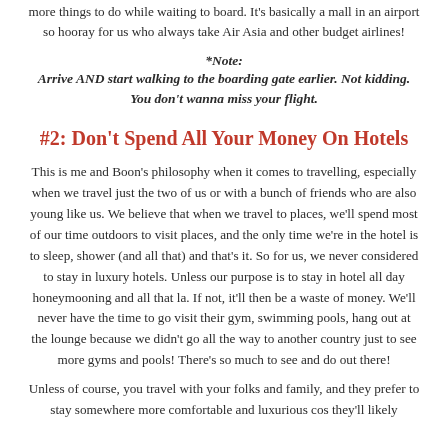more things to do while waiting to board. It's basically a mall in an airport so hooray for us who always take Air Asia and other budget airlines!
*Note:
Arrive AND start walking to the boarding gate earlier. Not kidding. You don't wanna miss your flight.
#2: Don't Spend All Your Money On Hotels
This is me and Boon's philosophy when it comes to travelling, especially when we travel just the two of us or with a bunch of friends who are also young like us. We believe that when we travel to places, we'll spend most of our time outdoors to visit places, and the only time we're in the hotel is to sleep, shower (and all that) and that's it. So for us, we never considered to stay in luxury hotels. Unless our purpose is to stay in hotel all day honeymooning and all that la. If not, it'll then be a waste of money. We'll never have the time to go visit their gym, swimming pools, hang out at the lounge because we didn't go all the way to another country just to see more gyms and pools! There's so much to see and do out there!
Unless of course, you travel with your folks and family, and they prefer to stay somewhere more comfortable and luxurious cos they'll likely